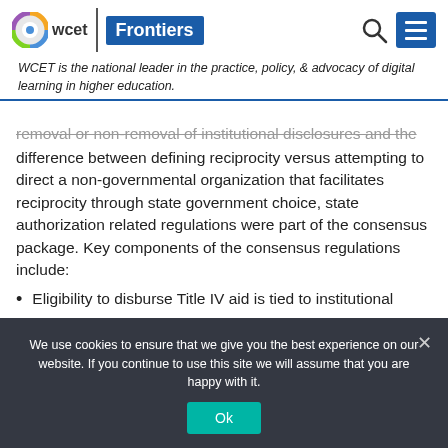wcet Frontiers
WCET is the national leader in the practice, policy, & advocacy of digital learning in higher education.
removal or non-removal of institutional disclosures and the difference between defining reciprocity versus attempting to direct a non-governmental organization that facilitates reciprocity through state government choice, state authorization related regulations were part of the consensus package. Key components of the consensus regulations include:
Eligibility to disburse Title IV aid is tied to institutional
We use cookies to ensure that we give you the best experience on our website. If you continue to use this site we will assume that you are happy with it.